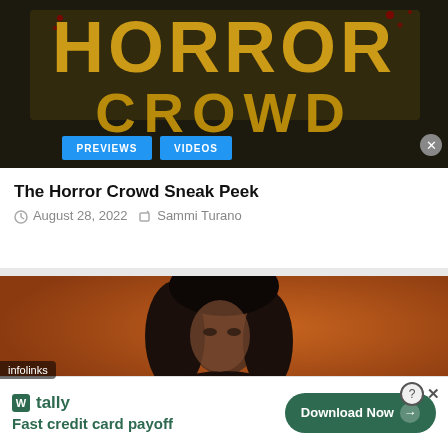[Figure (photo): Horror Crowd movie title card with yellow distressed text on dark background. PREVIEWS and VIDEOS blue tag buttons overlaid at bottom left.]
The Horror Crowd Sneak Peek
August 28, 2022   Sammi Turano
[Figure (photo): Photo of a woman with dark hair against an orange-brown background, partially visible.]
infolinks
[Figure (infographic): Tally app advertisement: W tally logo, text 'Fast credit card payoff', green Download Now button with arrow.]